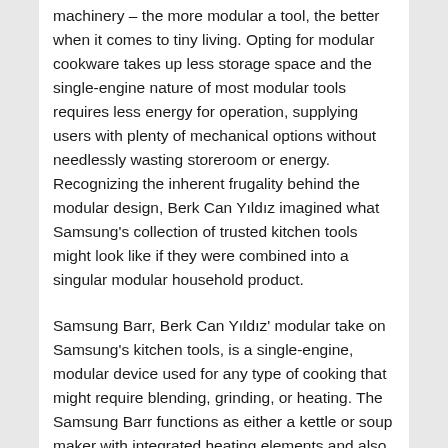machinery – the more modular a tool, the better when it comes to tiny living. Opting for modular cookware takes up less storage space and the single-engine nature of most modular tools requires less energy for operation, supplying users with plenty of mechanical options without needlessly wasting storeroom or energy. Recognizing the inherent frugality behind the modular design, Berk Can Yıldız imagined what Samsung's collection of trusted kitchen tools might look like if they were combined into a singular modular household product.
Samsung Barr, Berk Can Yıldız' modular take on Samsung's kitchen tools, is a single-engine, modular device used for any type of cooking that might require blending, grinding, or heating. The Samsung Barr functions as either a kettle or soup maker with integrated heating elements and also as a blender, grinder, or juicer for use without added heating elements. The product's large, front-facing button functions as the unit's control panel. The touchscreen dial's usability is akin to a round thermostat's – its circular formation allows users to adjust